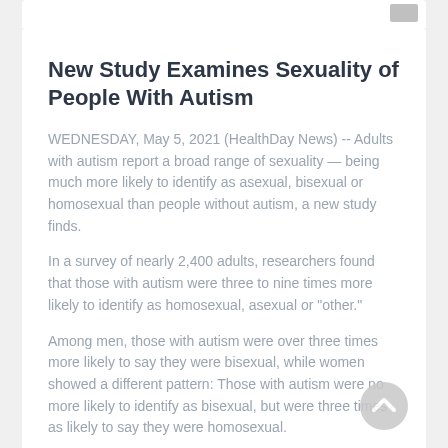New Study Examines Sexuality of People With Autism
WEDNESDAY, May 5, 2021 (HealthDay News) -- Adults with autism report a broad range of sexuality — being much more likely to identify as asexual, bisexual or homosexual than people without autism, a new study finds.
In a survey of nearly 2,400 adults, researchers found that those with autism were three to nine times more likely to identify as homosexual, asexual or "other."
Among men, those with autism were over three times more likely to say they were bisexual, while women showed a different pattern: Those with autism were no more likely to identify as bisexual, but were three times as likely to say they were homosexual.